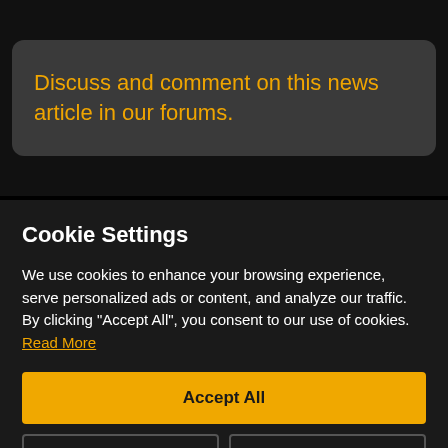Discuss and comment on this news article in our forums.
Cookie Settings
We use cookies to enhance your browsing experience, serve personalized ads or content, and analyze our traffic. By clicking "Accept All", you consent to our use of cookies. Read More
Accept All
Customize
Reject All